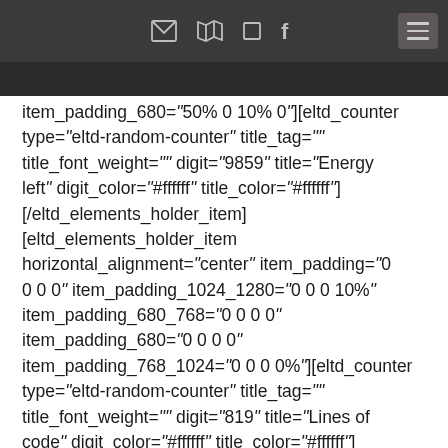[icons: envelope, map, square, facebook] [hamburger menu]
item_padding_680="50% 0 10% 0"][eltd_counter type="eltd-random-counter" title_tag="" title_font_weight="" digit="9859" title="Energy left" digit_color="#ffffff" title_color="#ffffff"] [/eltd_elements_holder_item] [eltd_elements_holder_item horizontal_alignment="center" item_padding="0 0 0 0" item_padding_1024_1280="0 0 0 10%" item_padding_680_768="0 0 0 0" item_padding_680="0 0 0 0" item_padding_768_1024="0 0 0 0%"][eltd_counter type="eltd-random-counter" title_tag="" title_font_weight="" digit="819" title="Lines of code" digit_color="#ffffff" title_color="#ffffff"]